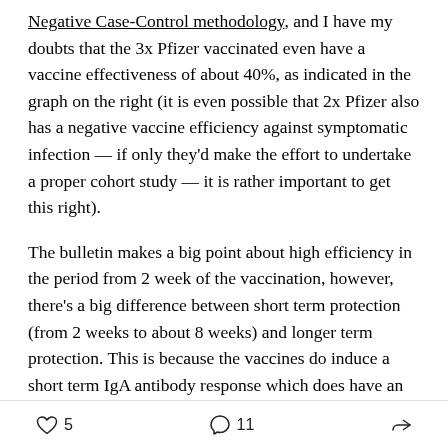Negative Case-Control methodology, and I have my doubts that the 3x Pfizer vaccinated even have a vaccine effectiveness of about 40%, as indicated in the graph on the right (it is even possible that 2x Pfizer also has a negative vaccine efficiency against symptomatic infection — if only they'd make the effort to undertake a proper cohort study — it is rather important to get this right).
The bulletin makes a big point about high efficiency in the period from 2 week of the vaccination, however, there's a big difference between short term protection (from 2 weeks to about 8 weeks) and longer term protection. This is because the vaccines do induce a short term IgA antibody response which does have an
5  11